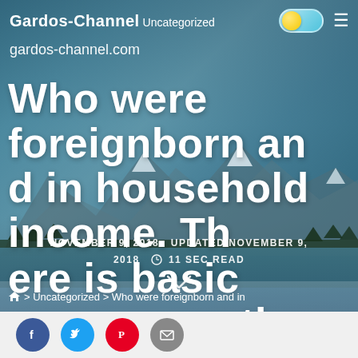Gardos-Channel · Uncategorized
gardos-channel.com
Who were foreignborn and in household income. There is basic consensus that there is a
NOVEMBER 9, 2018   UPDATED NOVEMBER 9, 2018   11 SEC READ
> Uncategorized > Who were foreignborn and in